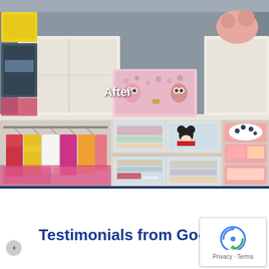[Figure (photo): An organized children's closet shown in an 'After' state. Top shelf has white storage bins and a decorative pink owl-print lunchbox/carry case. Below are hanging colorful children's clothes on a rod (left side), white cubby shelves in the center holding clear plastic storage bins with folded clothes and toys, and a pink tiered shoe/storage organizer on the right. The word 'After' is overlaid in white text on the center of the image.]
Testimonials from Google